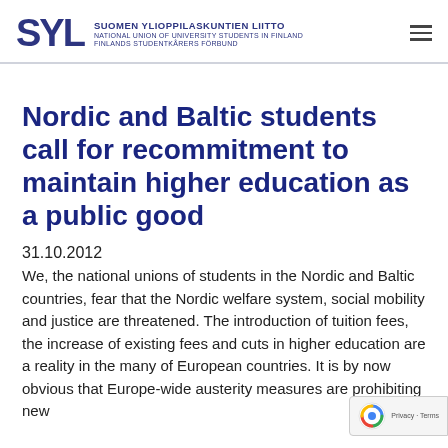SYL — SUOMEN YLIOPPILASKUNTIEN LIITTO — NATIONAL UNION OF UNIVERSITY STUDENTS IN FINLAND — FINLANDS STUDENTKÅRERS FÖRBUND
Nordic and Baltic students call for recommitment to maintain higher education as a public good
31.10.2012
We, the national unions of students in the Nordic and Baltic countries, fear that the Nordic welfare system, social mobility and justice are threatened. The introduction of tuition fees, the increase of existing fees and cuts in higher education are a reality in the many of European countries. It is by now obvious that Europe-wide austerity measures are prohibiting new